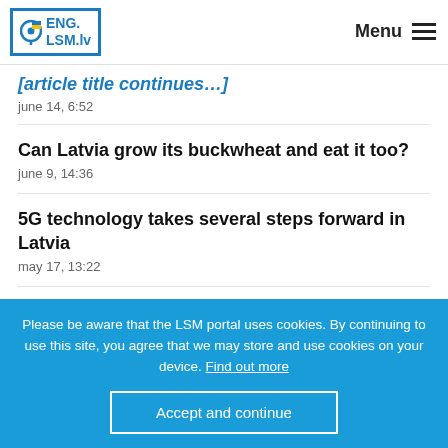ENG. LSM.lv | Menu
Can Latvia grow its buckwheat and eat it too?
june 9, 14:36
5G technology takes several steps forward in Latvia
may 17, 13:22
Latvia's medical tourism market shifts due to pandemic and war
Please be aware that the LSM portal uses cookies. By continuing to use this site, you agree that we may store and use cookies on your device. Find out more
Accept and continue